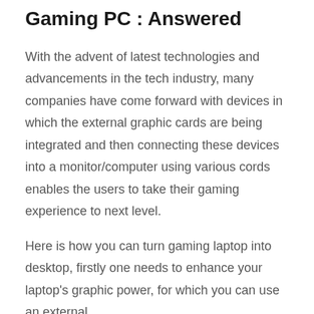Gaming PC : Answered
With the advent of latest technologies and advancements in the tech industry, many companies have come forward with devices in which the external graphic cards are being integrated and then connecting these devices into a monitor/computer using various cords enables the users to take their gaming experience to next level.
Here is how you can turn gaming laptop into desktop, firstly one needs to enhance your laptop's graphic power, for which you can use an external